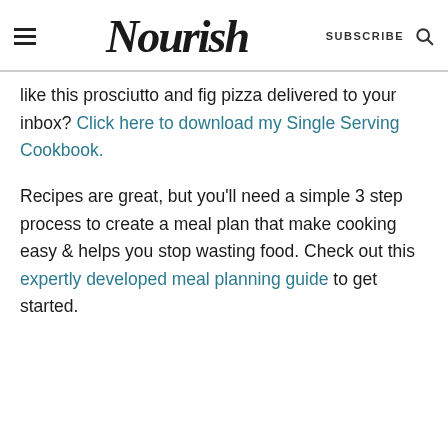Nourish | SUBSCRIBE
like this prosciutto and fig pizza delivered to your inbox? Click here to download my Single Serving Cookbook.
Recipes are great, but you'll need a simple 3 step process to create a meal plan that make cooking easy & helps you stop wasting food. Check out this expertly developed meal planning guide to get started.